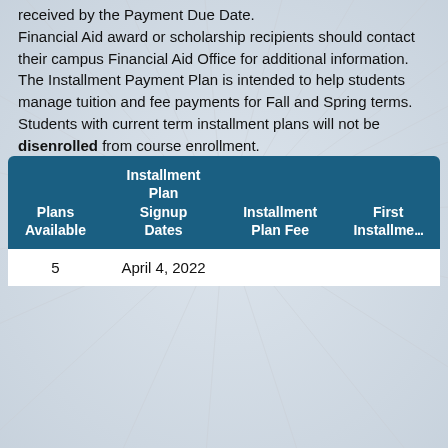received by the Payment Due Date.
Financial Aid award or scholarship recipients should contact their campus Financial Aid Office for additional information.
The Installment Payment Plan is intended to help students manage tuition and fee payments for Fall and Spring terms. Students with current term installment plans will not be disenrolled from course enrollment.
| Plans Available | Installment Plan Signup Dates | Installment Plan Fee | First Installme... |
| --- | --- | --- | --- |
| 5 | April 4, 2022 |  |  |